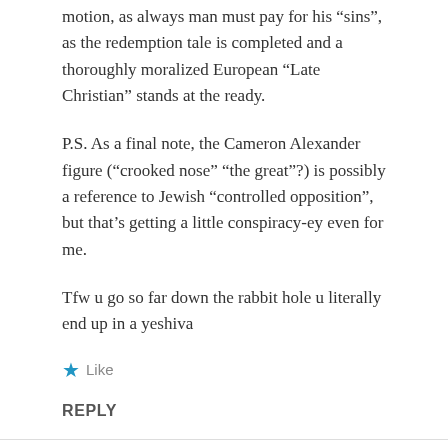motion, as always man must pay for his “sins”, as the redemption tale is completed and a thoroughly moralized European “Late Christian” stands at the ready.
P.S. As a final note, the Cameron Alexander figure (“crooked nose” “the great”?) is possibly a reference to Jewish “controlled opposition”, but that’s getting a little conspiracy-ey even for me.
Tfw u go so far down the rabbit hole u literally end up in a yeshiva
★ Like
REPLY